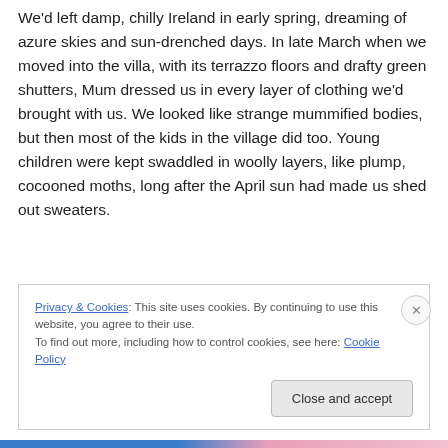We'd left damp, chilly Ireland in early spring, dreaming of azure skies and sun-drenched days. In late March when we moved into the villa, with its terrazzo floors and drafty green shutters, Mum dressed us in every layer of clothing we'd brought with us. We looked like strange mummified bodies, but then most of the kids in the village did too. Young children were kept swaddled in woolly layers, like plump, cocooned moths, long after the April sun had made us shed out sweaters.
Privacy & Cookies: This site uses cookies. By continuing to use this website, you agree to their use.
To find out more, including how to control cookies, see here: Cookie Policy